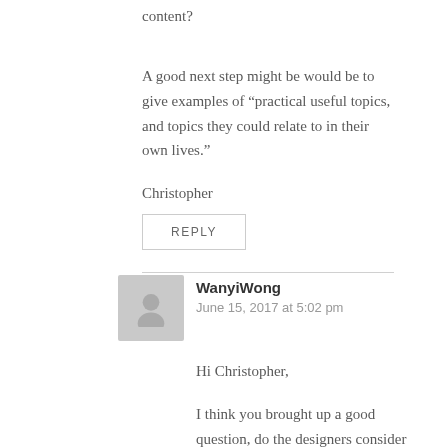content?
A good next step might be would be to give examples of “practical useful topics, and topics they could relate to in their own lives.”
Christopher
REPLY
WanyiWong
June 15, 2017 at 5:02 pm
Hi Christopher,
I think you brought up a good question, do the designers consider their audience (ESL Students) when